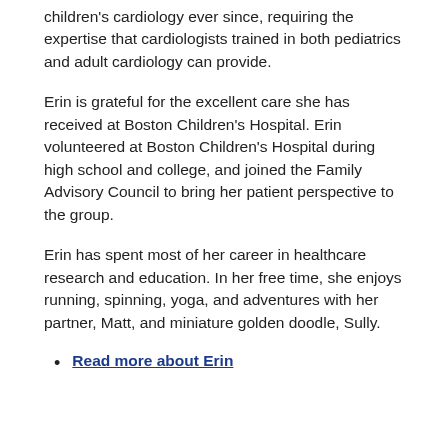children's cardiology ever since, requiring the expertise that cardiologists trained in both pediatrics and adult cardiology can provide.
Erin is grateful for the excellent care she has received at Boston Children's Hospital. Erin volunteered at Boston Children's Hospital during high school and college, and joined the Family Advisory Council to bring her patient perspective to the group.
Erin has spent most of her career in healthcare research and education. In her free time, she enjoys running, spinning, yoga, and adventures with her partner, Matt, and miniature golden doodle, Sully.
Read more about Erin
Angela Villamil